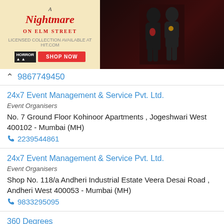[Figure (photo): Advertisement banner for 'A Nightmare on Elm Street' with shop now button and two people in dark background]
9867749450
24x7 Event Management & Service Pvt. Ltd.
Event Organisers
No. 7 Ground Floor Kohinoor Apartments , Jogeshwari West 400102 - Mumbai (MH)
2239544861
24x7 Event Management & Service Pvt. Ltd.
Event Organisers
Shop No. 118/a Andheri Industrial Estate Veera Desai Road , Andheri West 400053 - Mumbai (MH)
9833295095
360 Degrees
Conference And Seminar Organisers
Flat No. 9 Rupkala Building West Avenue , Santacruz West 400053 - Mumbai (MH)
9819803422
365 Events